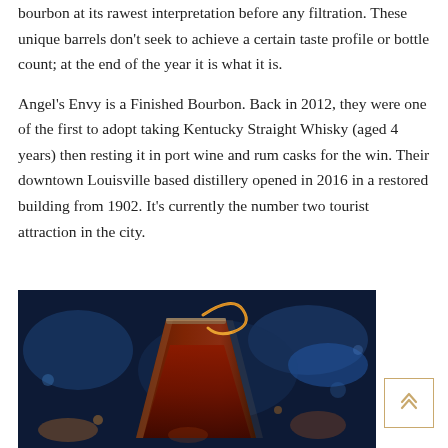bourbon at its rawest interpretation before any filtration. These unique barrels don't seek to achieve a certain taste profile or bottle count; at the end of the year it is what it is.
Angel's Envy is a Finished Bourbon. Back in 2012, they were one of the first to adopt taking Kentucky Straight Whisky (aged 4 years) then resting it in port wine and rum casks for the win. Their downtown Louisville based distillery opened in 2016 in a restored building from 1902. It's currently the number two tourist attraction in the city.
[Figure (photo): A cocktail glass filled with amber/dark red whisky drink, garnished with a citrus peel curl, photographed against a dark blue bar background with bokeh lights.]